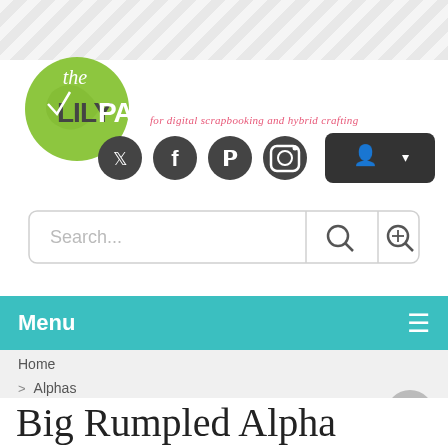[Figure (logo): The Lily Pad logo — green circle with script 'the' and bold 'LILYPAD' text, with tagline 'for digital scrapbooking and hybrid crafting' in pink italic]
[Figure (screenshot): Social media icons (Twitter, Facebook, Pinterest, Instagram) as dark circles, and a dark account/login button with person icon and dropdown arrow]
[Figure (screenshot): Search bar with placeholder text 'Search...' and two search icon buttons]
Menu
Home
> Alphas
> Big Rumpled Alpha
Big Rumpled Alpha